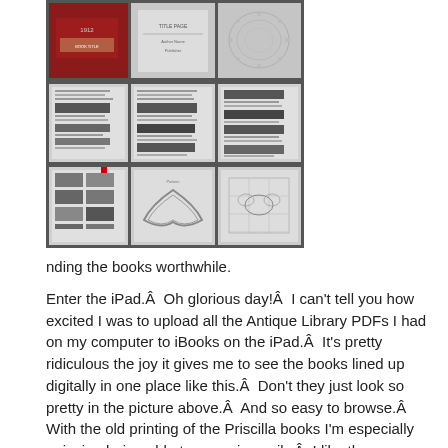[Figure (photo): A 3x3 grid of book pages/thumbnails from antique library PDFs displayed in iBooks on an iPad. Top row: a dark red book cover, a title page, and a decorative lace/doily image. Middle row: three pages of text with dark patterned lace swatches. Bottom row: pages with lace pattern grids, a page with a collar/neckpiece illustration, and a page with a detailed lace pattern.]
nding the books worthwhile.

Enter the iPad.Â  Oh glorious day!Â  I can't tell you how excited I was to upload all the Antique Library PDFs I had on my computer to iBooks on the iPad.Â  It's pretty ridiculous the joy it gives me to see the books lined up digitally in one place like this.Â  Don't they just look so pretty in the picture above.Â  And so easy to browse.Â  With the old printing of the Priscilla books I'm especially enjoying being able to zoom in easily.Â  I like the bookmark feature, but my only complaint is that I can't add notes to the bookmarks.Â  My paperbooks are covered in